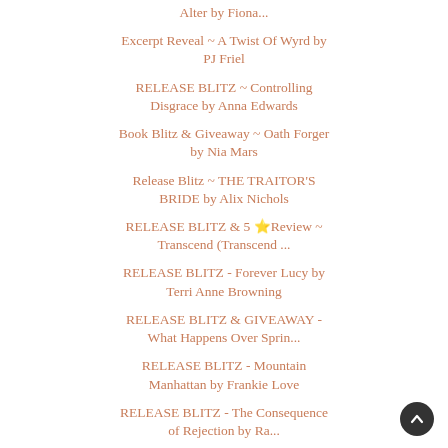Alter by Fiona...
Excerpt Reveal ~ A Twist Of Wyrd by PJ Friel
RELEASE BLITZ ~ Controlling Disgrace by Anna Edwards
Book Blitz & Giveaway ~ Oath Forger by Nia Mars
Release Blitz ~ THE TRAITOR'S BRIDE by Alix Nichols
RELEASE BLITZ & 5 ⭐Review ~ Transcend (Transcend ...
RELEASE BLITZ - Forever Lucy by Terri Anne Browning
RELEASE BLITZ & GIVEAWAY - What Happens Over Sprin...
RELEASE BLITZ - Mountain Manhattan by Frankie Love
RELEASE BLITZ - The Consequence of Rejection by Ra...
RELEASE BLITZ - Secrets of Spring